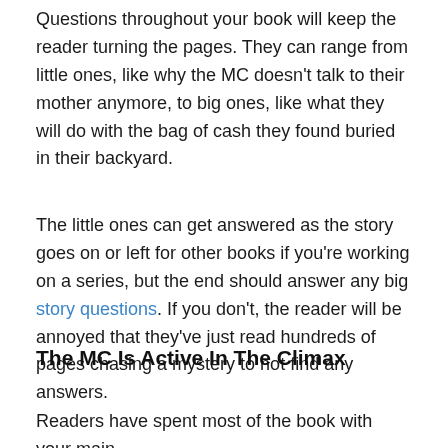Questions throughout your book will keep the reader turning the pages. They can range from little ones, like why the MC doesn't talk to their mother anymore, to big ones, like what they will do with the bag of cash they found buried in their backyard.
The little ones can get answered as the story goes on or left for other books if you're working on a series, but the end should answer any big story questions. If you don't, the reader will be annoyed that they've just read hundreds of pages chasing a mystery to not find any answers.
The MC Is Active In The Climax
Readers have spent most of the book with your main